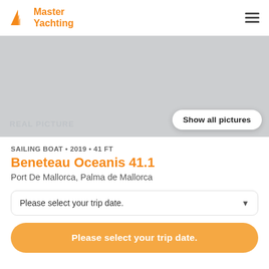[Figure (logo): Master Yachting logo with orange sail icon and orange bold text 'Master Yachting']
[Figure (photo): Gray placeholder hero image for yacht with 'REAL PICTURE' watermark text and a 'Show all pictures' button]
SAILING BOAT • 2019 • 41 FT
Beneteau Oceanis 41.1
Port De Mallorca, Palma de Mallorca
Please select your trip date.
Please select your trip date.